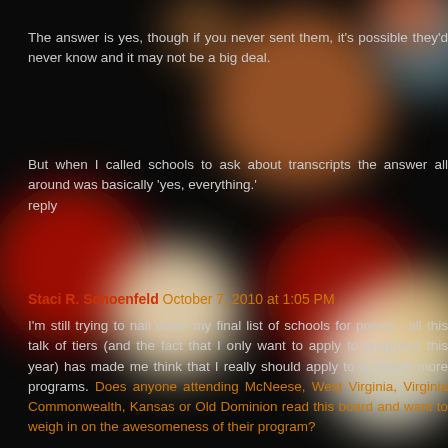[Figure (photo): Dark bokeh background with blurred colorful lights (red, orange, white, teal) on a black background]
The answer is yes, though if you never sent them, it's possible they'd never know and it may not be a big deal.
But when I called schools to ask about transcripts the answer all around was basically 'yes, everything.' reply
Staci R. Schoenfeld October 7, 2010 at 1:05 PM
I'm still trying to nail down my final list of schools for poetry - all this talk of tiers (and the fact that I only want to apply to programs this year) has made me think that I really should apply to a couple more programs. Does anyone attending McNeese, West Virginia, Virginia Commonwealth, Kansas or Old Dominion read this board and want to weigh in on the awesomeness of their program?
I love that McNeese affords students the opportunity to earn your M.A. along with your M.F.A., but I'm worried that their stipend won't be enough to live on.